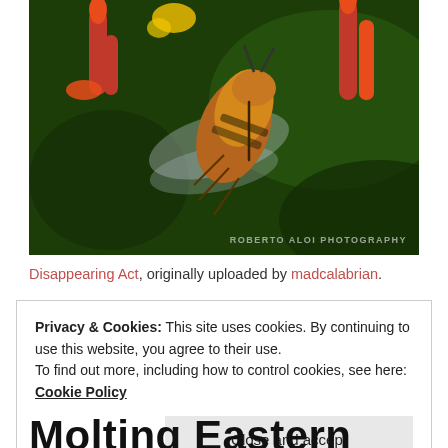[Figure (photo): Close-up macro photograph of a honeybee clinging to red/orange tubular flowers against a dark green background. Watermark reads 'ROBERTO ALOI PHOTOGRAPHY' in bottom right.]
Disappearing Act, originally uploaded by madcalabrian.
Privacy & Cookies: This site uses cookies. By continuing to use this website, you agree to their use.
To find out more, including how to control cookies, see here: Cookie Policy
Close and accept
Molting Eastern